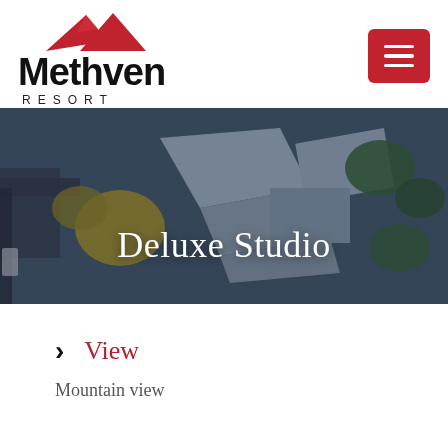[Figure (logo): Methven Resort logo with red mountain peaks SVG above bold black text 'Methven' and spaced caps 'RESORT']
[Figure (other): Red square button with three white horizontal lines (hamburger menu icon)]
[Figure (photo): Aerial drone photo of Methven Resort buildings with blue-grey roofs, surrounding trees and roads, with dark overlay and white serif text 'Deluxe Studio' centered]
View
Mountain view